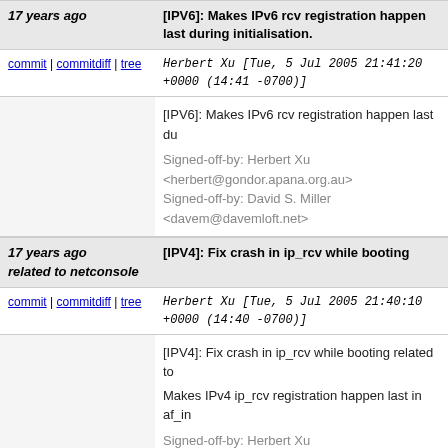17 years ago   [IPV6]: Makes IPv6 rcv registration happen last during initialisation.
commit | commitdiff | tree   Herbert Xu [Tue, 5 Jul 2005 21:41:20 +0000 (14:41 -0700)]
[IPV6]: Makes IPv6 rcv registration happen last du...

Signed-off-by: Herbert Xu <herbert@gondor.apana.org.au>
Signed-off-by: David S. Miller <davem@davemloft.net>
17 years ago   [IPV4]: Fix crash in ip_rcv while booting related to netconsole
commit | commitdiff | tree   Herbert Xu [Tue, 5 Jul 2005 21:40:10 +0000 (14:40 -0700)]
[IPV4]: Fix crash in ip_rcv while booting related to...

Makes IPv4 ip_rcv registration happen last in af_in...

Signed-off-by: Herbert Xu <herbert@gondor.apana.org.au>
Signed-off-by: David S. Miller <davem@davemloft.net>
17 years ago   [SKGE]: Fix build on big-endian
commit | commitdiff | tree   David S. Miller [Tue, 5 Jul 2005